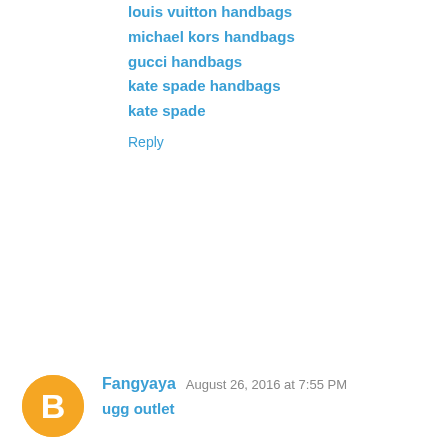louis vuitton handbags
michael kors handbags
gucci handbags
kate spade handbags
kate spade
Reply
[Figure (illustration): Orange Blogger avatar icon circle with white letter B]
Fangyaya  August 26, 2016 at 7:55 PM
ugg outlet
polo ralph lauren
rolex submariner watches
air jordans
michael kors handbags
uggs outlet
michael kors outlet
kate spade handbags
moncler paris
ugg boots
coach factory outlet
ray ban sunglasses outlet
ugg sale